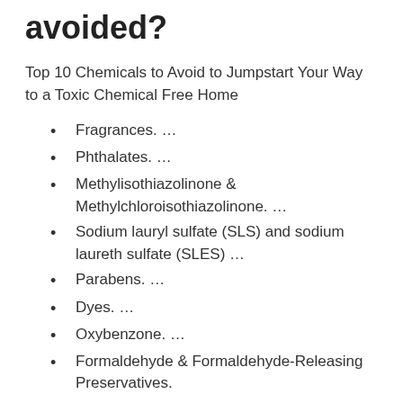avoided?
Top 10 Chemicals to Avoid to Jumpstart Your Way to a Toxic Chemical Free Home
Fragrances. …
Phthalates. …
Methylisothiazolinone & Methylchloroisothiazolinone. …
Sodium lauryl sulfate (SLS) and sodium laureth sulfate (SLES) …
Parabens. …
Dyes. …
Oxybenzone. …
Formaldehyde & Formaldehyde-Releasing Preservatives.
What are the 4 types of